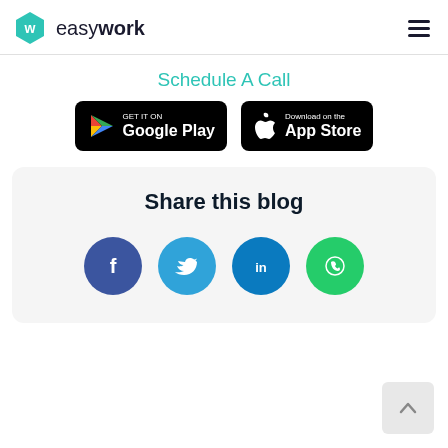easywork — navigation header with logo and hamburger menu
Schedule A Call
[Figure (logo): Google Play store badge — black rounded rectangle with Play triangle icon and text GET IT ON Google Play]
[Figure (logo): Apple App Store badge — black rounded rectangle with Apple logo and text Download on the App Store]
Share this blog
[Figure (infographic): Social share icons: Facebook (blue circle), Twitter (light blue circle), LinkedIn (dark blue circle), WhatsApp (green circle)]